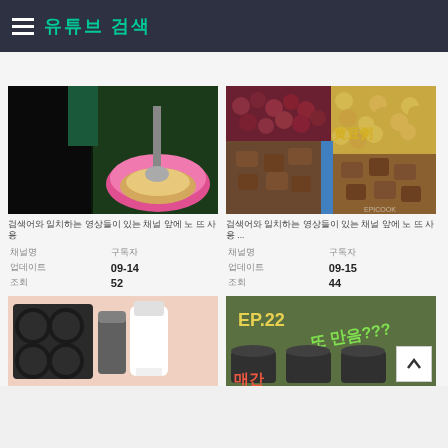유튜브 검색
[Figure (screenshot): Video thumbnail 1: food mixer in pink bowl with dough]
검색어와 일치하는 영상들이 있는 채널 앞에 노 뜨 사용
| 채널명 | 구독자 |
| --- | --- |
| 업데이트 | 09-14 |
| 조회 | 52 |
[Figure (screenshot): Video thumbnail 2: various legumes and grains]
검색어와 일치하는 영상들이 있는 채널 앞에 노 뜨 사용 ...
| 채널명 | 구독자 |
| --- | --- |
| 업데이트 | 09-15 |
| 조회 | 44 |
[Figure (screenshot): Video thumbnail 3: baking ingredients on pink background]
[Figure (screenshot): Video thumbnail 4: EP.22 cooking video with text overlay]